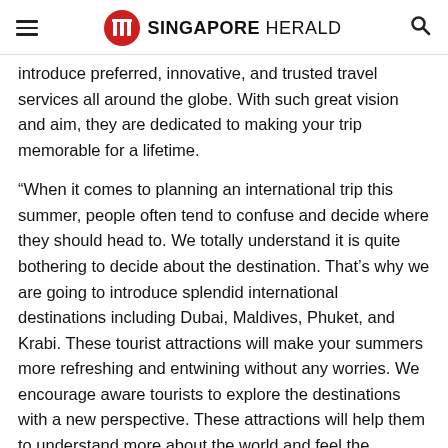SINGAPORE HERALD
introduce preferred, innovative, and trusted travel services all around the globe. With such great vision and aim, they are dedicated to making your trip memorable for a lifetime.
“When it comes to planning an international trip this summer, people often tend to confuse and decide where they should head to. We totally understand it is quite bothering to decide about the destination. That’s why we are going to introduce splendid international destinations including Dubai, Maldives, Phuket, and Krabi. These tourist attractions will make your summers more refreshing and entwining without any worries. We encourage aware tourists to explore the destinations with a new perspective. These attractions will help them to understand more about the world and feel the peaceful aura”, said Mr. Dip Shah, founder of Travel Takatak.